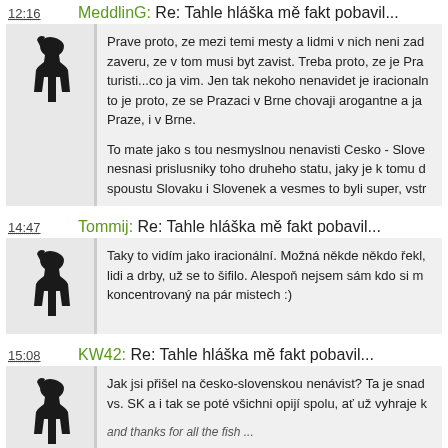12:16 MeddlinG: Re: Tahle hláška mě fakt pobavil...
Prave proto, ze mezi temi mesty a lidmi v nich neni zad... zaveru, ze v tom musi byt zavist. Treba proto, ze je Pra... turisti...co ja vim. Jen tak nekoho nenavidet je iracionaln... to je proto, ze se Prazaci v Brne chovaji arogantne a ja... Praze, i v Brne.

To mate jako s tou nesmyslnou nenavisti Cesko - Slove... nesnasi prislusniky toho druheho statu, jaky je k tomu d... spoustu Slovaku i Slovenek a vesmes to byli super, vstr...
14:47 Tommij: Re: Tahle hláška mě fakt pobavil...
Taky to vidím jako iracionální. Možná někde někdo řekl,... lidi a drby, už se to šifilo. Alespoň nejsem sám kdo si m... koncentrovaný na pár mistech :)
15:08 KW42: Re: Tahle hláška mě fakt pobavil...
Jak jsi přišel na česko-slovenskou nenávist? Ta je snad... vs. SK a i tak se poté všichni opijí spolu, ať už vyhraje k...
and thanks for all the fish ...
13:25 deWolf: Re: Tahle hláška mě fakt pobavil...
Pokud jsi žil v Praze tři roky od narození, tak chápu, že... líbilo...